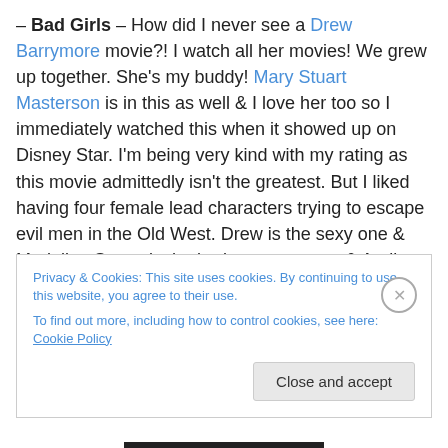– Bad Girls – How did I never see a Drew Barrymore movie?! I watch all her movies! We grew up together. She's my buddy! Mary Stuart Masterson is in this as well & I love her too so I immediately watched this when it showed up on Disney Star. I'm being very kind with my rating as this movie admittedly isn't the greatest. But I liked having four female lead characters trying to escape evil men in the Old West. Drew is the sexy one & Madeline Stowe is the badass smart one & Andie MacDowell is the girly one and Mary Stuart Masterson is the nice one. And there are two nice guys but the rest are a bunch of rapists
Privacy & Cookies: This site uses cookies. By continuing to use this website, you agree to their use. To find out more, including how to control cookies, see here: Cookie Policy
Close and accept